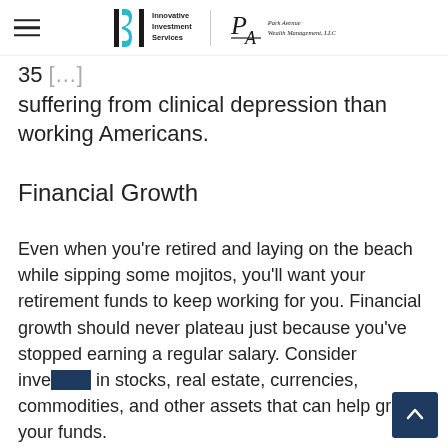Innovative Investment Services | Park Avenue Wealth Management, LLC
35 [partial] suffering from clinical depression than working Americans.
Financial Growth
Even when you're retired and laying on the beach while sipping some mojitos, you'll want your retirement funds to keep working for you. Financial growth should never plateau just because you've stopped earning a regular salary. Consider investing in stocks, real estate, currencies, commodities, and other assets that can help grow your funds.